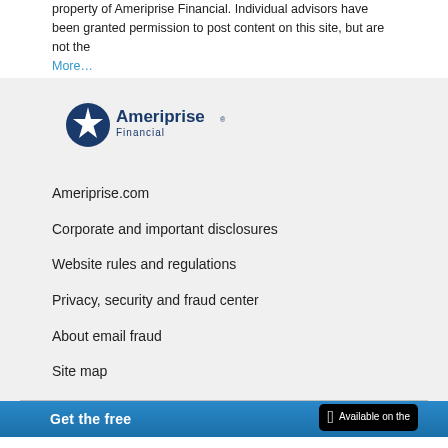property of Ameriprise Financial. Individual advisors have been granted permission to post content on this site, but are not the
More…
[Figure (logo): Ameriprise Financial logo with compass star icon]
Ameriprise.com
Corporate and important disclosures
Website rules and regulations
Privacy, security and fraud center
About email fraud
Site map
Get the free
Available on the